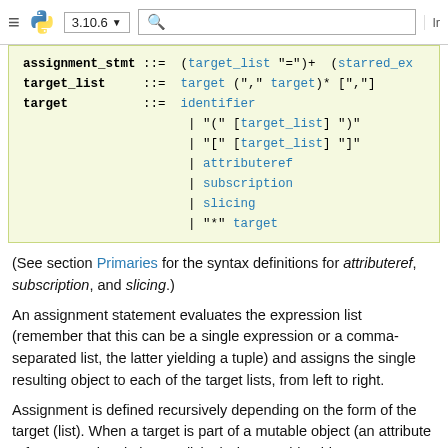≡ 🐍 3.10.6 ▾  🔍  Ir
[Figure (screenshot): Python grammar code block showing BNF grammar rules for assignment_stmt, target_list, and target with light green/yellow background]
(See section Primaries for the syntax definitions for attributeref, subscription, and slicing.)
An assignment statement evaluates the expression list (remember that this can be a single expression or a comma-separated list, the latter yielding a tuple) and assigns the single resulting object to each of the target lists, from left to right.
Assignment is defined recursively depending on the form of the target (list). When a target is part of a mutable object (an attribute reference, subscription or slicing), the mutable object must ultimately perform the assignment and decide about its validity, and may raise an exception if the assignment is unacceptable. The